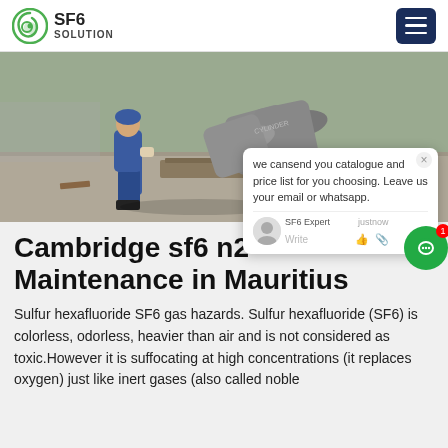SF6 SOLUTION
[Figure (photo): Worker in blue uniform handling large gray gas cylinders on an outdoor concrete surface]
Cambridge sf6 n2 Maintenance in Mauritius
Sulfur hexafluoride SF6 gas hazards. Sulfur hexafluoride (SF6) is colorless, odorless, heavier than air and is not considered as toxic.However it is suffocating at high concentrations (it replaces oxygen) just like inert gases (also called noble